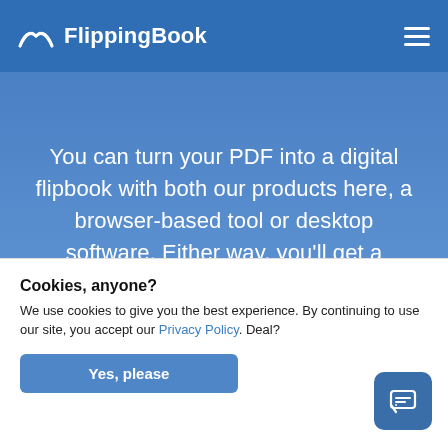FlippingBook
You can turn your PDF into a digital flipbook with both our products here, a browser-based tool or desktop software. Either way, you'll get a beautiful flipbook that is easy to distribute no matter the size.
Cookies, anyone?
We use cookies to give you the best experience. By continuing to use our site, you accept our Privacy Policy. Deal?